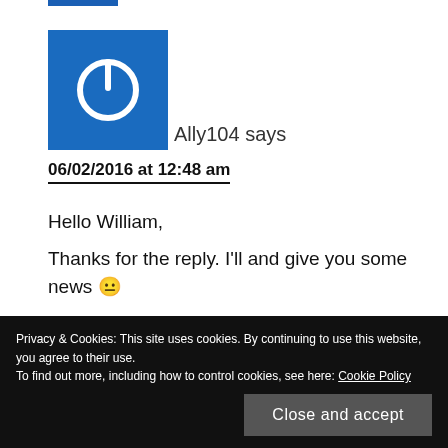[Figure (illustration): Blue square avatar with white power button icon]
Ally104 says
06/02/2016 at 12:48 am
Hello William,
Thanks for the reply. I'll and give you some news 😐
Ally
Privacy & Cookies: This site uses cookies. By continuing to use this website, you agree to their use.
To find out more, including how to control cookies, see here: Cookie Policy
Close and accept